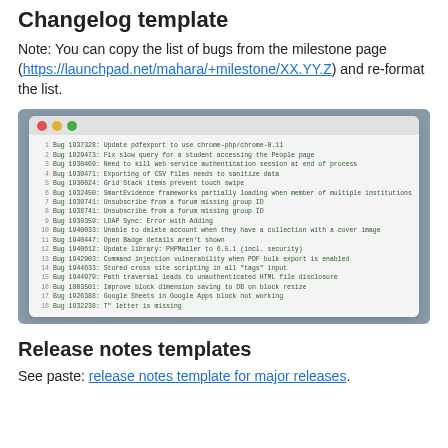Changelog template
Note: You can copy the list of bugs from the milestone page (https://launchpad.net/mahara/+milestone/XX.YY.Z) and re-format the list.
[Figure (screenshot): Terminal window screenshot showing a list of 18 bug entries with bug numbers and descriptions, e.g. Bug 1937328: Update pdfexport to use chrome-php/chrome-0.11]
Release notes templates
See paste: release notes template for major releases.